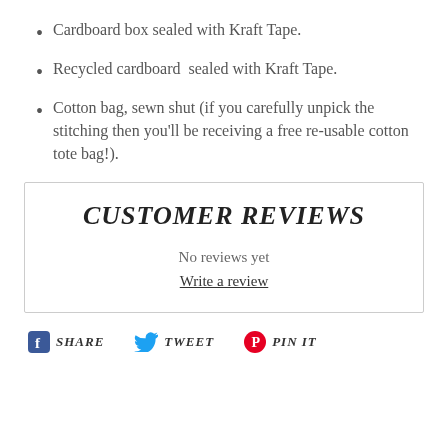Cardboard box sealed with Kraft Tape.
Recycled cardboard  sealed with Kraft Tape.
Cotton bag, sewn shut (if you carefully unpick the stitching then you'll be receiving a free re-usable cotton tote bag!).
CUSTOMER REVIEWS
No reviews yet
Write a review
SHARE  TWEET  PIN IT